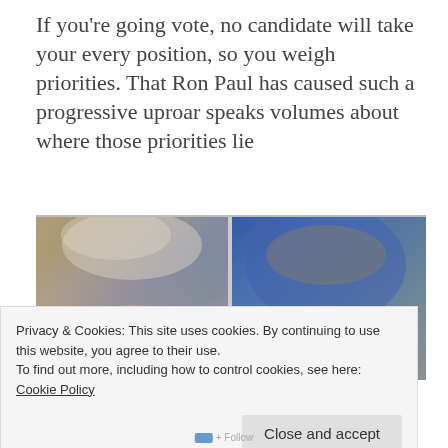If you're going vote, no candidate will take your every position, so you weigh priorities. That Ron Paul has caused such a progressive uproar speaks volumes about where those priorities lie
[Figure (photo): Side-by-side close-up photos of two individuals — on the left an older man with white/grey hair (Ron Paul), on the right a man with short grey/dark hair (Barack Obama), shown from forehead to just above the eyes, against blurred backgrounds.]
Privacy & Cookies: This site uses cookies. By continuing to use this website, you agree to their use.
To find out more, including how to control cookies, see here: Cookie Policy
Close and accept